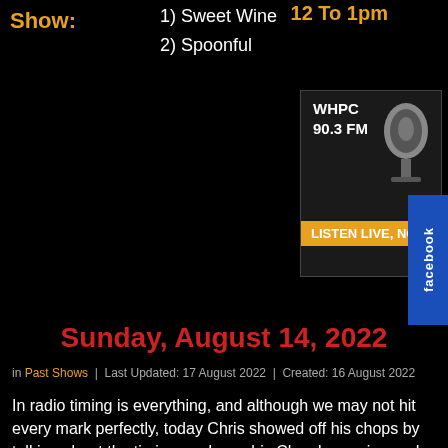Show:
1) Sweet Wine
2) Spoonful
12 To 1pm
[Figure (logo): WHPC 90.3 FM radio station logo with microphone image and LISTEN LIVE, NOW bar]
[Figure (logo): Facebook tab button on right side]
[Figure (logo): Twitter bird icon in cyan square]
Sunday, August 14, 2022
in Past Shows | Last Updated: 17 August 2022 | Created: 16 August 2022
In radio timing is everything, and although we may not hit every mark perfectly, today Chris showed off his chops by talking about the timing marks on his Chrysler engine and how he couldn't see them. Ray